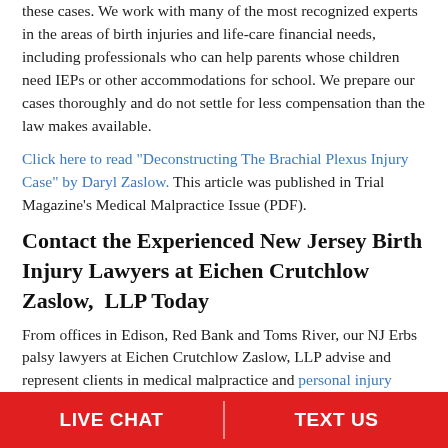these cases. We work with many of the most recognized experts in the areas of birth injuries and life-care financial needs, including professionals who can help parents whose children need IEPs or other accommodations for school. We prepare our cases thoroughly and do not settle for less compensation than the law makes available.
Click here to read "Deconstructing The Brachial Plexus Injury Case" by Daryl Zaslow. This article was published in Trial Magazine's Medical Malpractice Issue (PDF).
Contact the Experienced New Jersey Birth Injury Lawyers at Eichen Crutchlow Zaslow,  LLP Today
From offices in Edison, Red Bank and Toms River, our NJ Erbs palsy lawyers at Eichen Crutchlow Zaslow, LLP advise and represent clients in medical malpractice and personal injury
LIVE CHAT | TEXT US